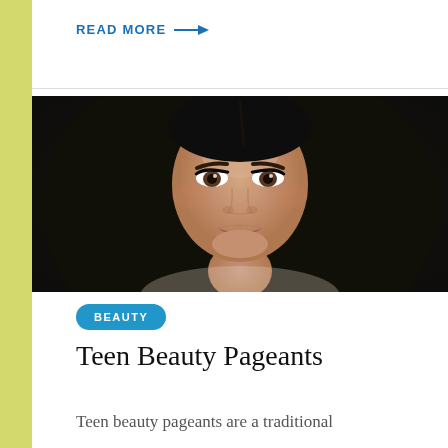READ MORE →
[Figure (photo): Close-up portrait of a young woman with long dark hair, wearing makeup with prominent eye makeup and lip color]
BEAUTY
Teen Beauty Pageants
Teen beauty pageants are a traditional